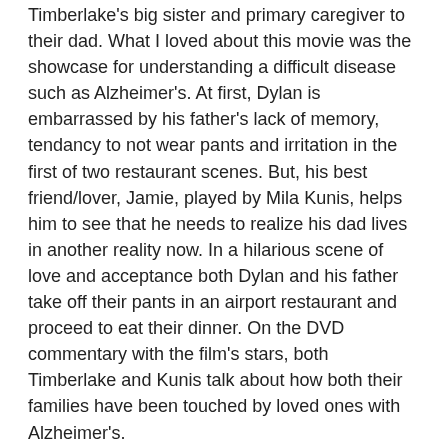Timberlake's big sister and primary caregiver to their dad. What I loved about this movie was the showcase for understanding a difficult disease such as Alzheimer's. At first, Dylan is embarrassed by his father's lack of memory, tendancy to not wear pants and irritation in the first of two restaurant scenes. But, his best friend/lover, Jamie, played by Mila Kunis, helps him to see that he needs to realize his dad lives in another reality now. In a hilarious scene of love and acceptance both Dylan and his father take off their pants in an airport restaurant and proceed to eat their dinner. On the DVD commentary with the film's stars, both Timberlake and Kunis talk about how both their families have been touched by loved ones with Alzheimer's.
Extremely Loud and Incredibly Close – In one of the most incredible performances by a young actor, made even more incredible because this is his first acting job, newcomer Thomas Horn plays Oskar Schell, a child with